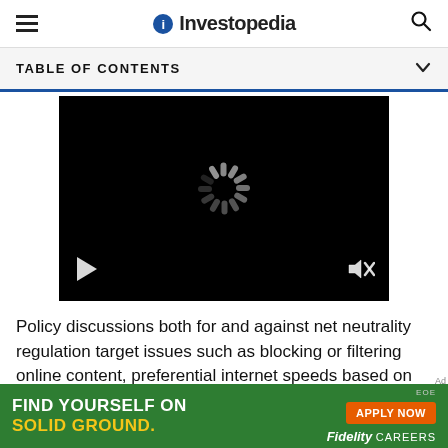Investopedia
TABLE OF CONTENTS
[Figure (screenshot): Video player with loading spinner on black background, play button at bottom left, mute icon at bottom right]
Policy discussions both for and against net neutrality regulation target issues such as blocking or filtering online content, preferential internet speeds based on business agreements, throttling to limit user upload
[Figure (infographic): Advertisement banner: FIND YOURSELF ON SOLID GROUND. APPLY NOW. Fidelity CAREERS]